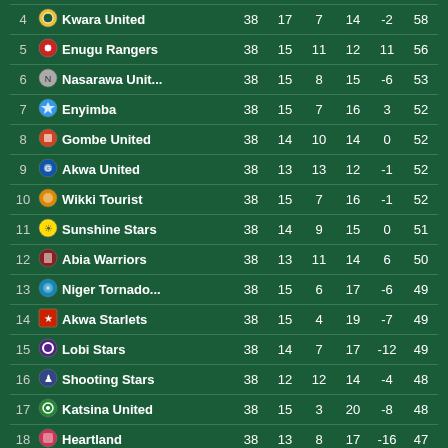| # | Team | P | W | D | L | GD | Pts |
| --- | --- | --- | --- | --- | --- | --- | --- |
| 4 | Kwara United | 38 | 17 | 7 | 14 | -2 | 58 |
| 5 | Enugu Rangers | 38 | 15 | 11 | 12 | 11 | 56 |
| 6 | Nasarawa Unit... | 38 | 15 | 8 | 15 | -6 | 53 |
| 7 | Enyimba | 38 | 15 | 7 | 16 | 3 | 52 |
| 8 | Gombe United | 38 | 14 | 10 | 14 | 0 | 52 |
| 9 | Akwa United | 38 | 13 | 13 | 12 | -1 | 52 |
| 10 | Wikki Tourist | 38 | 15 | 7 | 16 | -1 | 52 |
| 11 | Sunshine Stars | 38 | 14 | 9 | 15 | 0 | 51 |
| 12 | Abia Warriors | 38 | 13 | 11 | 14 | 6 | 50 |
| 13 | Niger Tornado... | 38 | 15 | 6 | 17 | -6 | 49 |
| 14 | Akwa Starlets | 38 | 15 | 4 | 19 | -7 | 49 |
| 15 | Lobi Stars | 38 | 14 | 7 | 17 | -12 | 49 |
| 16 | Shooting Stars | 38 | 12 | 12 | 14 | -4 | 48 |
| 17 | Katsina United | 38 | 15 | 3 | 20 | -8 | 48 |
| 18 | Heartland | 38 | 13 | 8 | 17 | -16 | 47 |
| 19 | Kano Pillars | 38 | 15 | 6 | 17 | -4 | 45 |
| 20 | MFM | 38 | 9 | 9 | 20 | -25 | 36 |